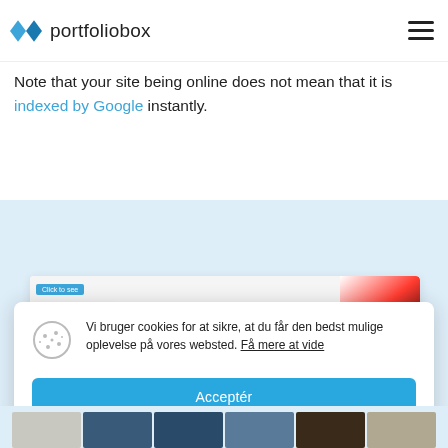portfoliobox
Note that your site being online does not mean that it is indexed by Google instantly.
[Figure (screenshot): Screenshot of portfoliobox website builder interface with a color picker panel on the right and a menu overlay on the left, showing 'En onlineportefølje' text in the center.]
Vi bruger cookies for at sikre, at du får den bedst mulige oplevelse på vores websted. Få mere at vide
Acceptér